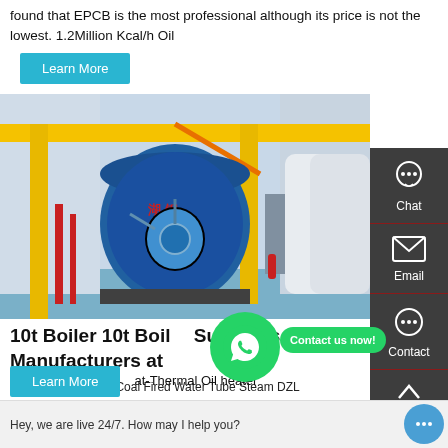found that EPCB is the most professional although its price is not the lowest. 1.2Million Kcal/h Oil
Learn More
[Figure (photo): Industrial boiler room with a large blue cylindrical steam boiler, yellow overhead cranes/beams, red pipes, and white tanks in a large industrial facility.]
10t Boiler 10t Boiler Suppliers and Manufacturers at...
China 4t Horizontal Coal Fired Water Tube Steam DZL series quick-installed steam boiler is a kind of horizontal,three r... boil 10t Boiler 10t...
at-Thermal Oil heater